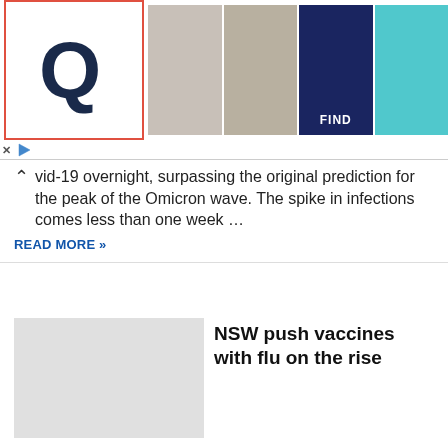[Figure (screenshot): Advertisement banner with Quidco-style Q logo in red-bordered box on left, followed by images of fashion items (woman in black outfit, woman in patterned dress), a navy lounger with label 'FIND', and a teal outdoor chair.]
vid-19 overnight, surpassing the original prediction for the peak of the Omicron wave. The spike in infections comes less than one week ...
READ MORE »
[Figure (photo): Placeholder/thumbnail image for NSW flu vaccine article (light grey box)]
NSW push vaccines with flu on the rise
Cases of flu in NSW have more than doubled in recent weeks, leading to a spike of hospitalisations. Chief Health Officer Kerry Chant said there were more than 1024 cases ...
READ MORE »